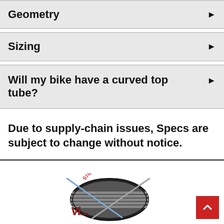Geometry
Sizing
Will my bike have a curved top tube?
Due to supply-chain issues, Specs are subject to change without notice.
[Figure (logo): Vélocité bike shop logo with 'Since 1974' text and crossed bicycle spokes design]